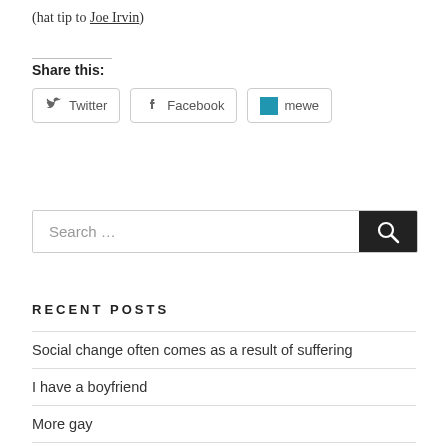(hat tip to Joe Irvin)
Share this:
Twitter  Facebook  mewe
Search …
RECENT POSTS
Social change often comes as a result of suffering
I have a boyfriend
More gay